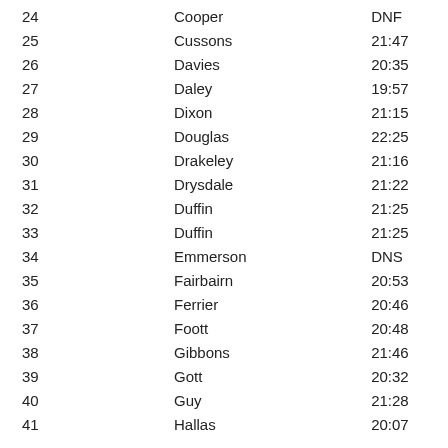| # | Name | Time |
| --- | --- | --- |
| 24 | Cooper | DNF |
| 25 | Cussons | 21:47 |
| 26 | Davies | 20:35 |
| 27 | Daley | 19:57 |
| 28 | Dixon | 21:15 |
| 29 | Douglas | 22:25 |
| 30 | Drakeley | 21:16 |
| 31 | Drysdale | 21:22 |
| 32 | Duffin | 21:25 |
| 33 | Duffin | 21:25 |
| 34 | Emmerson | DNS |
| 35 | Fairbairn | 20:53 |
| 36 | Ferrier | 20:46 |
| 37 | Foott | 20:48 |
| 38 | Gibbons | 21:46 |
| 39 | Gott | 20:32 |
| 40 | Guy | 21:28 |
| 41 | Hallas | 20:07 |